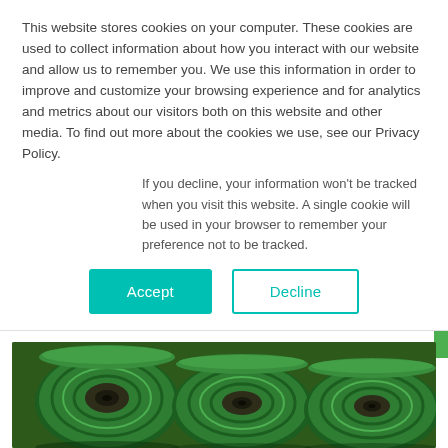This website stores cookies on your computer. These cookies are used to collect information about how you interact with our website and allow us to remember you. We use this information in order to improve and customize your browsing experience and for analytics and metrics about our visitors both on this website and other media. To find out more about the cookies we use, see our Privacy Policy.
If you decline, your information won't be tracked when you visit this website. A single cookie will be used in your browser to remember your preference not to be tracked.
Accept
Decline
Artificial Grass
[Figure (photo): Rolled up artificial grass turf rolls, showing green synthetic grass material wound into cylindrical rolls viewed from the end]